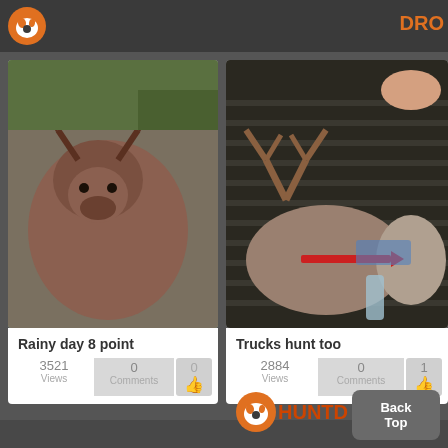DRO
[Figure (photo): Photo of a deer lying on a truck bed, viewed from the front, showing the deer's face and antlers on a rainy day]
Rainy day 8 point
3521 Views  0 Comments  0
[Figure (photo): Photo of a deer with antlers lying in a truck bed, with a red arrow visible nearby]
Trucks hunt too
2884 Views  0 Comments  1
[Figure (logo): HuntDrop logo with deer silhouette icon]
Back
Top